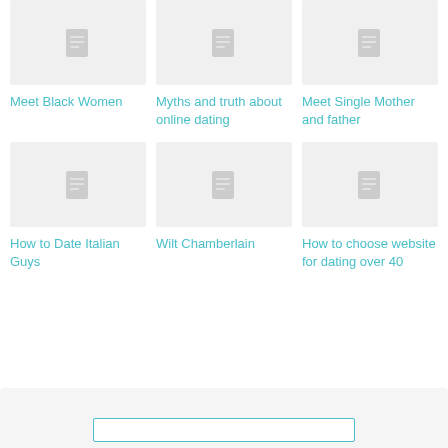[Figure (screenshot): Thumbnail placeholder image with document icon for Meet Black Women article]
Meet Black Women
[Figure (screenshot): Thumbnail placeholder image with document icon for Myths and truth about online dating article]
Myths and truth about online dating
[Figure (screenshot): Thumbnail placeholder image with document icon for Meet Single Mother and father article]
Meet Single Mother and father
[Figure (screenshot): Thumbnail placeholder image with document icon for How to Date Italian Guys article]
How to Date Italian Guys
[Figure (screenshot): Thumbnail placeholder image with document icon for Wilt Chamberlain article]
Wilt Chamberlain
[Figure (screenshot): Thumbnail placeholder image with document icon for How to choose website for dating over 40 article]
How to choose website for dating over 40